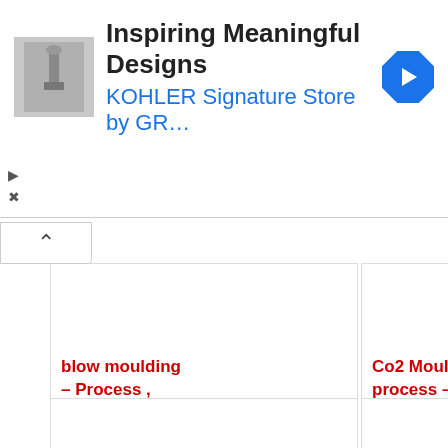[Figure (screenshot): Advertisement banner for KOHLER Signature Store by GR... - Inspiring Meaningful Designs, with thumbnail image of a faucet/sink, blue navigation arrow icon, and play/close controls]
blow moulding – Process ,
Co2 Moulding process –
What is Casting
Steps in Investment